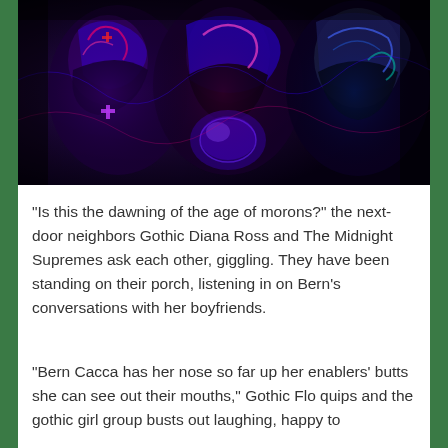[Figure (illustration): Dark, psychedelic digital illustration of three figures resembling Gothic Diana Ross and The Midnight Supremes, rendered in deep blues, purples, and reds with swirling, glowing neon-like colors against a dark background.]
“Is this the dawning of the age of morons?” the next-door neighbors Gothic Diana Ross and The Midnight Supremes ask each other, giggling. They have been standing on their porch, listening in on Bern’s conversations with her boyfriends.
“Bern Cacca has her nose so far up her enablers’ butts she can see out their mouths,” Gothic Flo quips and the gothic girl group busts out laughing, happy to